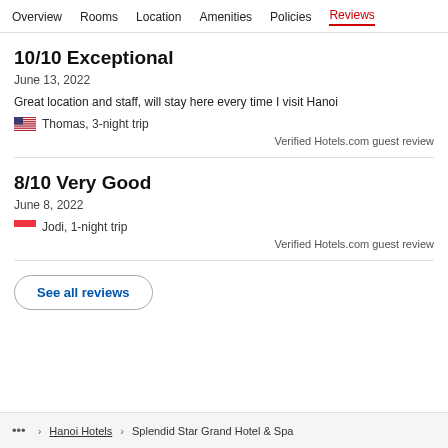Overview  Rooms  Location  Amenities  Policies  Reviews
10/10 Exceptional
June 13, 2022
Great location and staff, will stay here every time I visit Hanoi
Thomas, 3-night trip
Verified Hotels.com guest review
8/10 Very Good
June 8, 2022
Jodi, 1-night trip
Verified Hotels.com guest review
See all reviews
... > Hanoi Hotels > Splendid Star Grand Hotel & Spa